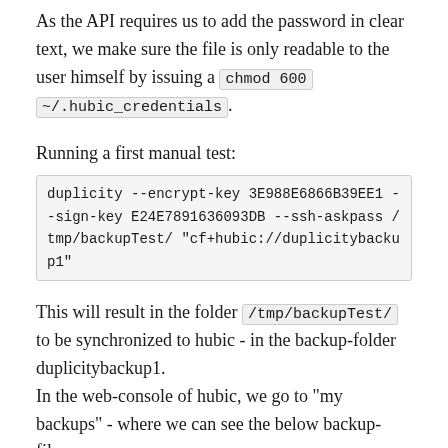As the API requires us to add the password in clear text, we make sure the file is only readable to the user himself by issuing a chmod 600 ~/.hubic_credentials.
Running a first manual test:
duplicity --encrypt-key 3E988E6866B39EE1 --sign-key E24E7891636093DB --ssh-askpass /tmp/backupTest/ "cf+hubic://duplicitybackup1"
This will result in the folder /tmp/backupTest/ to be synchronized to hubic - in the backup-folder duplicitybackup1.
In the web-console of hubic, we go to "my backups" - where we can see the below backup-files.